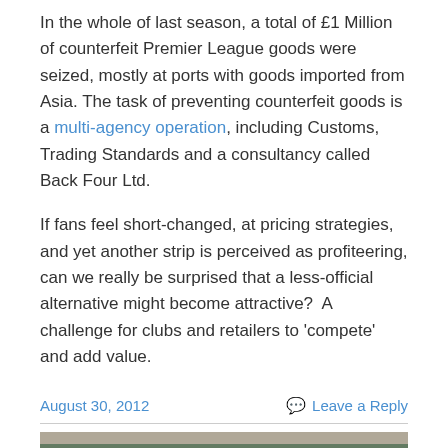In the whole of last season, a total of £1 Million of counterfeit Premier League goods were seized, mostly at ports with goods imported from Asia. The task of preventing counterfeit goods is a multi-agency operation, including Customs, Trading Standards and a consultancy called Back Four Ltd.
If fans feel short-changed, at pricing strategies, and yet another strip is perceived as profiteering, can we really be surprised that a less-official alternative might become attractive?  A challenge for clubs and retailers to 'compete' and add value.
August 30, 2012   Leave a Reply
[Figure (photo): Partial photo of a building exterior visible at the bottom of the page]